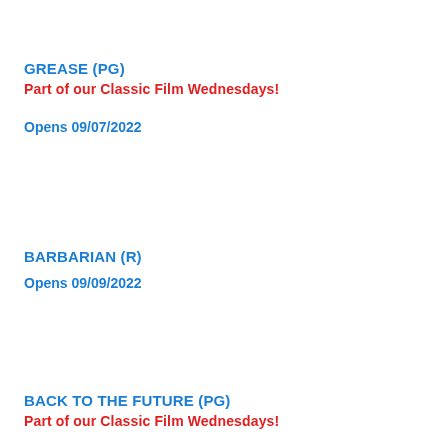GREASE (PG)
Part of our Classic Film Wednesdays!
Opens 09/07/2022
BARBARIAN (R)
Opens 09/09/2022
BACK TO THE FUTURE (PG)
Part of our Classic Film Wednesdays!